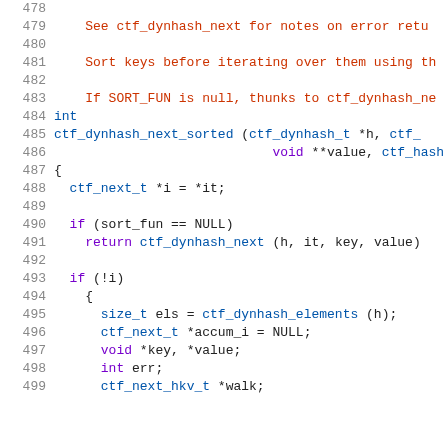source code listing lines 478-499, C language, ctf_dynhash_next_sorted function